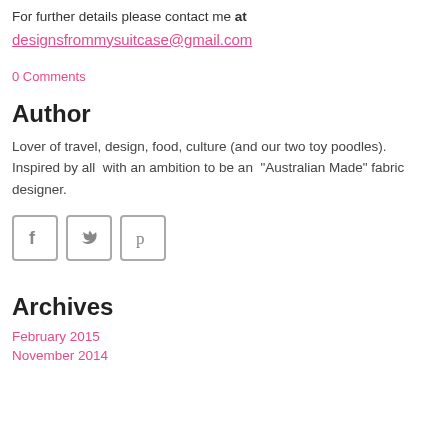For further details please contact me at
designsfrommysuitcase@gmail.com
0 Comments
Author
Lover of travel, design, food, culture (and our two toy poodles). Inspired by all with an ambition to be an "Australian Made" fabric designer.
[Figure (illustration): Three social media icon buttons: Facebook (f), Twitter (bird), Pinterest (p), each in a rounded square border, grey color]
Archives
February 2015
November 2014